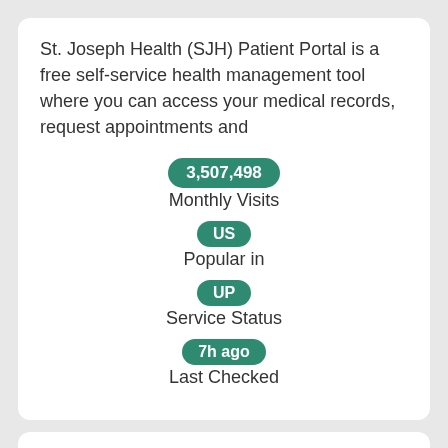St. Joseph Health (SJH) Patient Portal is a free self-service health management tool where you can access your medical records, request appointments and
3,507,498
Monthly Visits
US
Popular in
UP
Service Status
7h ago
Last Checked
FAQs | Patient Portal St. Joseph Health